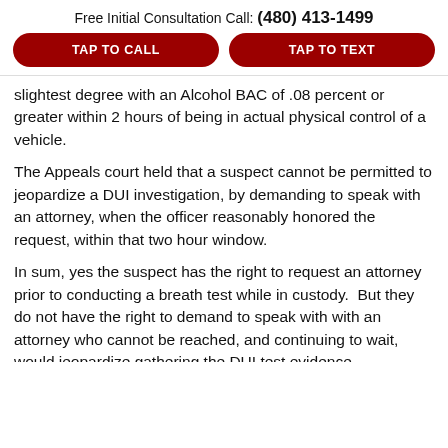Free Initial Consultation Call: (480) 413-1499
TAP TO CALL
TAP TO TEXT
slightest degree with an Alcohol BAC of .08 percent or greater within 2 hours of being in actual physical control of a vehicle.
The Appeals court held that a suspect cannot be permitted to jeopardize a DUI investigation, by demanding to speak with an attorney, when the officer reasonably honored the request, within that two hour window.
In sum, yes the suspect has the right to request an attorney prior to conducting a breath test while in custody.  But they do not have the right to demand to speak with with an attorney who cannot be reached, and continuing to wait, would jeopardize gathering the DUI test evidence